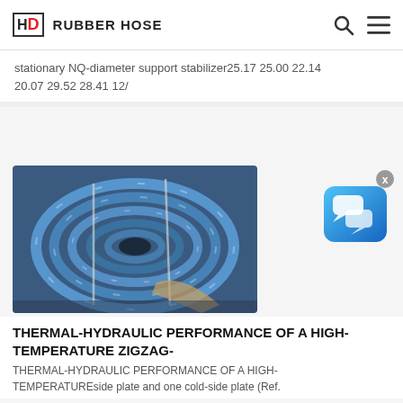HD RUBBER HOSE
stationary NQ-diameter support stabilizer25.17 25.00 22.14 20.07 29.52 28.41 12/
[Figure (photo): Coiled blue rubber hydraulic hoses bundled together, photographed from above at an angle]
[Figure (illustration): Chat widget icon — white speech bubble icons on blue gradient rounded square background, with a gray X close button]
THERMAL-HYDRAULIC PERFORMANCE OF A HIGH-TEMPERATURE ZIGZAG-
THERMAL-HYDRAULIC PERFORMANCE OF A HIGH-TEMPERATUREside plate and one cold-side plate (Ref.